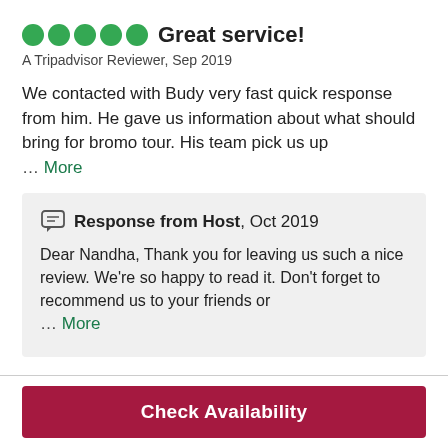Great service!
A Tripadvisor Reviewer, Sep 2019
We contacted with Budy very fast quick response from him. He gave us information about what should bring for bromo tour. His team pick us up … More
Response from Host, Oct 2019
Dear Nandha, Thank you for leaving us such a nice review. We're so happy to read it. Don't forget to recommend us to your friends or … More
Check Availability